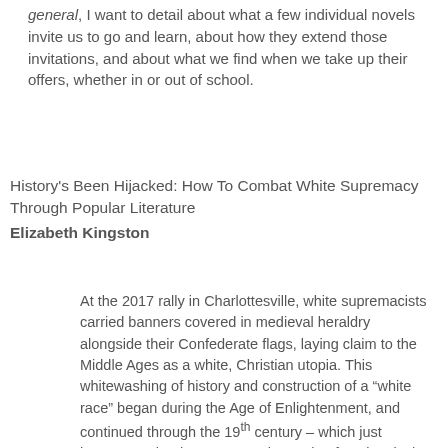general, I want to detail about what a few individual novels invite us to go and learn, about how they extend those invitations, and about what we find when we take up their offers, whether in or out of school.
History's Been Hijacked: How To Combat White Supremacy Through Popular Literature
Elizabeth Kingston
At the 2017 rally in Charlottesville, white supremacists carried banners covered in medieval heraldry alongside their Confederate flags, laying claim to the Middle Ages as a white, Christian utopia. This whitewashing of history and construction of a “white race” began during the Age of Enlightenment, and continued through the 19th century – which just happens to be the most popular setting for Historical Romance.
Often seen as providing harmless escapism, the persistent fabrication of an all-white, all-Christian universe has resulted in an ignorance so extreme